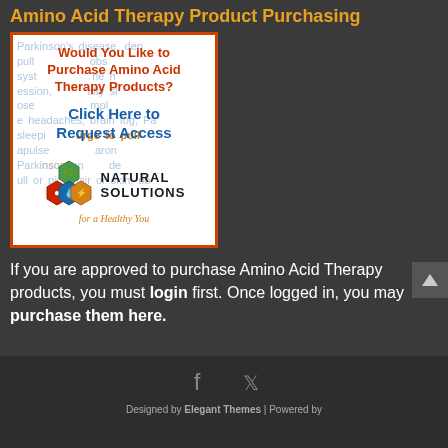Amino Acid Therapy Product Purchasing
[Figure (advertisement): Ad box with orange border. Background text showing medical condition keywords in light blue. Foreground: 'Would You Like to Purchase Amino Acid Therapy Products?' in red bold, 'Click Here to Request Access' in blue bold, Natural Solutions logo with honeycomb icons and tagline 'for a Healthy You' in orange italic.]
If you are approved to purchase Amino Acid Therapy products, you must login first. Once logged in, you may purchase them here.
Designed by Elegant Themes | Powered by